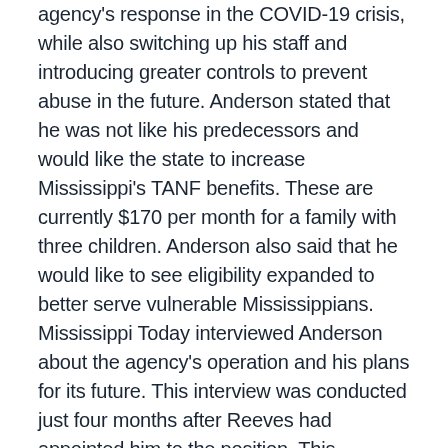agency's response in the COVID-19 crisis, while also switching up his staff and introducing greater controls to prevent abuse in the future. Anderson stated that he was not like his predecessors and would like the state to increase Mississippi's TANF benefits. These are currently $170 per month for a family with three children. Anderson also said that he would like to see eligibility expanded to better serve vulnerable Mississippians. Mississippi Today interviewed Anderson about the agency's operation and his plans for its future. This interview was conducted just four months after Reeves had appointed him to the position. This interview was edited to be more concise and clear. Mississippi Today: What is the most surprising thing you have learned since taking over? Anderson: I knew this agency had a broad range of programs, but it was the breadth of our work that really surprised me. My previous frame of reference for DHS was the welfare agency. It is to a certain extent. However, there was a governor's office of federal